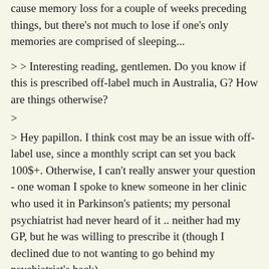cause memory loss for a couple of weeks preceding things, but there's not much to lose if one's only memories are comprised of sleeping...
> > Interesting reading, gentlemen. Do you know if this is prescribed off-label much in Australia, G? How are things otherwise?
>
> Hey papillon. I think cost may be an issue with off-label use, since a monthly script can set you back 100$+. Otherwise, I can't really answer your question - one woman I spoke to knew someone in her clinic who used it in Parkinson's patients; my personal psychiatrist had never heard of it .. neither had my GP, but he was willing to prescribe it (though I declined due to not wanting to go behind my psychiatrist's back).
>
> I'm okay, otherwise. Not as despairingly depressed as I was. I'm taking a very low dose of Parnate which helps me socialize and do some basic things during the day, which I'm thankful for, but it's scary to see how inert and dysfunctional I was in comparison. Sleep, however, is a major problem. If I don't take zopiclone I'm literally up the entire night, and if I do take it, I'm hit by rebound depression the next evening. I hope my